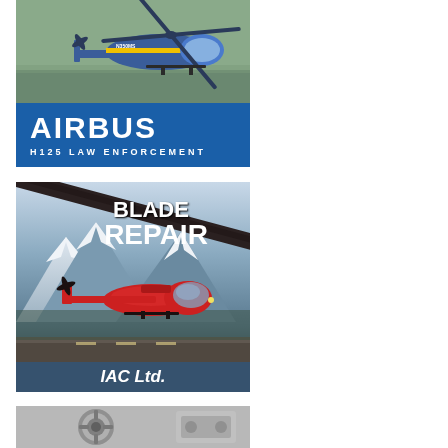[Figure (photo): Airbus H125 Law Enforcement helicopter advertisement. Top portion shows a blue and yellow police helicopter (N350MS) in flight against a green-grey background. Bottom portion is a blue banner with white bold text 'AIRBUS' and subtitle 'H125 LAW ENFORCEMENT'.]
[Figure (photo): IAC Ltd. blade repair advertisement. Shows a red helicopter flying in front of snowy mountain scenery. Text overlay reads 'BLADE REPAIR' in white bold letters. Footer banner reads 'IAC Ltd.' in white italic text on dark blue background.]
[Figure (photo): Partial advertisement showing mechanical/engine components in grey tones, cropped at bottom of page.]